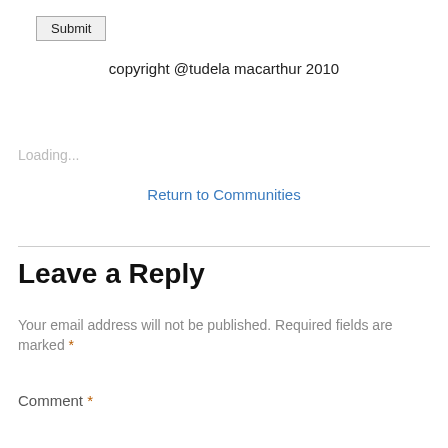Submit
copyright @tudela macarthur 2010
Return to Communities
Loading...
Leave a Reply
Your email address will not be published. Required fields are marked *
Comment *